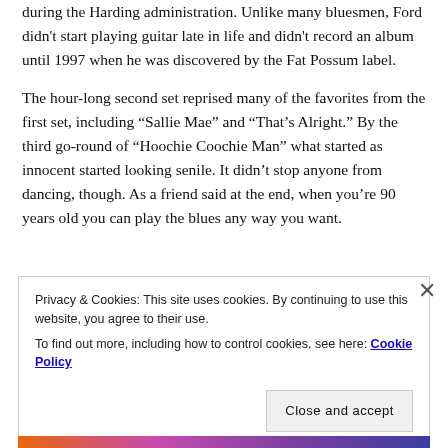during the Harding administration. Unlike many bluesmen, Ford didn't start playing guitar late in life and didn't record an album until 1997 when he was discovered by the Fat Possum label.
The hour-long second set reprised many of the favorites from the first set, including “Sallie Mae” and “That’s Alright.” By the third go-round of “Hoochie Coochie Man” what started as innocent started looking senile. It didn’t stop anyone from dancing, though. As a friend said at the end, when you’re 90 years old you can play the blues any way you want.
Privacy & Cookies: This site uses cookies. By continuing to use this website, you agree to their use.
To find out more, including how to control cookies, see here: Cookie Policy
Close and accept